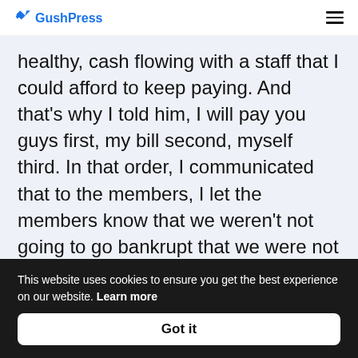GushPress
healthy, cash flowing with a staff that I could afford to keep paying. And that's why I told him, I will pay you guys first, my bill second, myself third. In that order, I communicated that to the members, I let the members know that we weren't not going to go bankrupt that we were not going to go out of business. That no matter how hard it was going to be, I'd prepared for this. And I wasn't going to pretend like I was a nonprofit when I've been running like a business
This website uses cookies to ensure you get the best experience on our website. Learn more
Got it